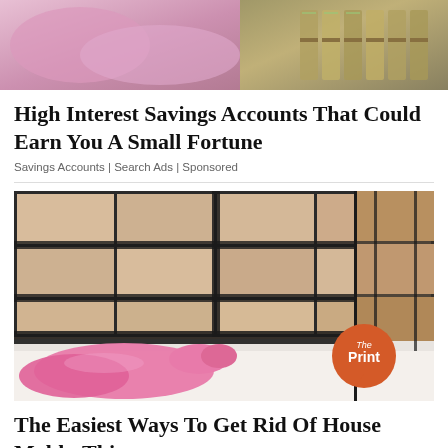[Figure (photo): Top portion of an advertisement image showing pink bags and money/cash]
High Interest Savings Accounts That Could Earn You A Small Fortune
Savings Accounts | Search Ads | Sponsored
[Figure (photo): Photo of bathroom tiles with black mold in grout lines, a hand wearing a pink rubber glove pointing at the mold near a bathtub. The Print logo watermark visible in bottom right.]
The Easiest Ways To Get Rid Of House Mold - This May Surprise You!